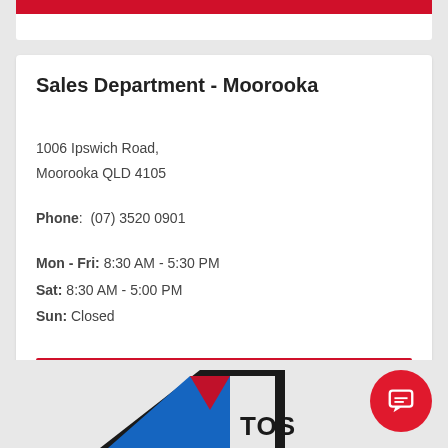Sales Department - Moorooka
1006 Ipswich Road,
Moorooka QLD 4105
Phone:  (07) 3520 0901
Mon - Fri: 8:30 AM - 5:30 PM
Sat: 8:30 AM - 5:00 PM
Sun: Closed
[Figure (other): Red button labeled View Map & Directions]
[Figure (logo): Partial logo with blue, red, and white triangular shapes with text starting with 'TOS']
[Figure (other): Red circular chat bubble icon in bottom right corner]